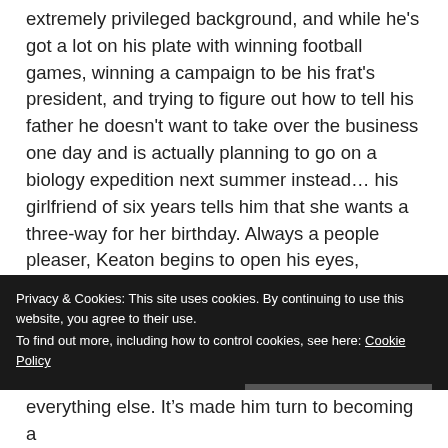extremely privileged background, and while he's got a lot on his plate with winning football games, winning a campaign to be his frat's president, and trying to figure out how to tell his father he doesn't want to take over the business one day and is actually planning to go on a biology expedition next summer instead... his girlfriend of six years tells him that she wants a three-way for her birthday. Always a people pleaser, Keaton begins to open his eyes, broaden his horizons and downloads a fantasy app and meets “SinnerThree.”
Privacy & Cookies: This site uses cookies. By continuing to use this website, you agree to their use. To find out more, including how to control cookies, see here: Cookie Policy
everything else. It’s made him turn to becoming a